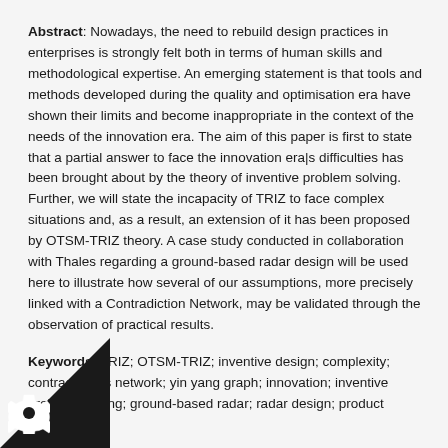Abstract: Nowadays, the need to rebuild design practices in enterprises is strongly felt both in terms of human skills and methodological expertise. An emerging statement is that tools and methods developed during the quality and optimisation era have shown their limits and become inappropriate in the context of the needs of the innovation era. The aim of this paper is first to state that a partial answer to face the innovation era|s difficulties has been brought about by the theory of inventive problem solving. Further, we will state the incapacity of TRIZ to face complex situations and, as a result, an extension of it has been proposed by OTSM-TRIZ theory. A case study conducted in collaboration with Thales regarding a ground-based radar design will be used here to illustrate how several of our assumptions, more precisely linked with a Contradiction Network, may be validated through the observation of practical results.
Keywords: TRIZ; OTSM-TRIZ; inventive design; complexity; contradictions network; yin yang graph; innovation; inventive problem solving; ground-based radar; radar design; product development.